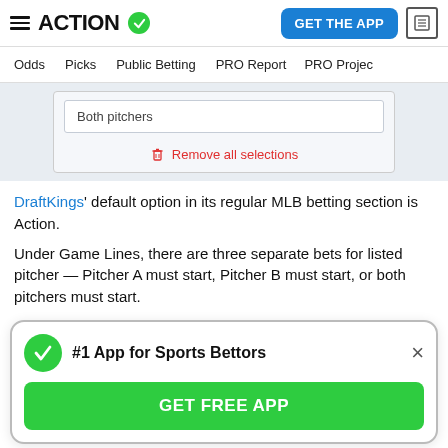ACTION | GET THE APP
Odds | Picks | Public Betting | PRO Report | PRO Project
[Figure (screenshot): Screenshot of a betting interface showing 'Both pitchers' dropdown option and 'Remove all selections' link with trash icon]
DraftKings' default option in its regular MLB betting section is Action.
Under Game Lines, there are three separate bets for listed pitcher — Pitcher A must start, Pitcher B must start, or both pitchers must start.
[Figure (screenshot): App promotional popup: '#1 App for Sports Bettors' with green checkmark icon, close button, and 'GET FREE APP' green button]